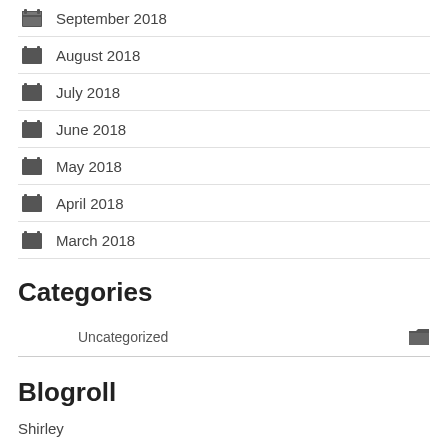September 2018
August 2018
July 2018
June 2018
May 2018
April 2018
March 2018
Categories
Uncategorized
Blogroll
Shirley
Ken
Madison
Roy